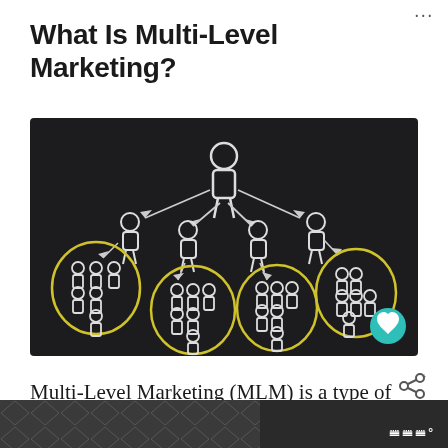What Is Multi-Level Marketing?
[Figure (illustration): Chalkboard-style illustration on dark background showing a multi-level marketing hierarchy. A top figure (person icon) in the center connects via arrows to three second-level person icons. Each second-level icon connects down to a group of smaller person icons, some enclosed in yellow oval circles, representing downline recruits.]
Multi-Level Marketing (MLM) is a type of